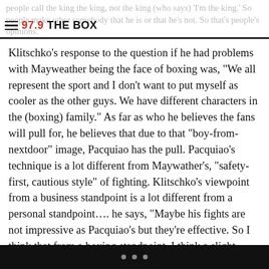people call the king the king, not the king (who says) 'I'm the king.' So people make other somebody that he is or that he's not. So that's people's opinions."
Klitschko's response to the question if he had problems with Mayweather being the face of boxing was, "We all represent the sport and I don't want to put myself as cooler as the other guys. We have different characters in the (boxing) family." As far as who he believes the fans will pull for, he believes that due to that "boy-from-nextdoor" image, Pacquiao has the pull. Pacquiao's technique is a lot different from Maywather's, "safety-first, cautious style" of fighting. Klitschko's viewpoint from a business standpoint is a lot different from a personal standpoint…. he says, "Maybe his fights are not impressive as Pacquiao's but they're effective. So I think that from a boxing standpoint, I think a slight advantage is on Mayweather's side because of his size and technical
• • •